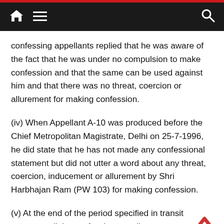Navigation bar with home, menu, and search icons
confessing appellants replied that he was aware of the fact that he was under no compulsion to make confession and that the same can be used against him and that there was no threat, coercion or allurement for making confession.
(iv) When Appellant A-10 was produced before the Chief Metropolitan Magistrate, Delhi on 25-7-1996, he did state that he has not made any confessional statement but did not utter a word about any threat, coercion, inducement or allurement by Shri Harbhajan Ram (PW 103) for making confession.
(v) At the end of the period specified in transit warrants, all the confessing appellants were produced before the Magistrate...